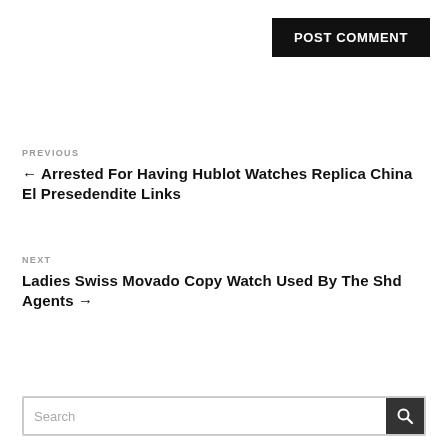Post Comment
PREVIOUS
← Arrested For Having Hublot Watches Replica China El Presedendite Links
NEXT
Ladies Swiss Movado Copy Watch Used By The Shd Agents →
Search